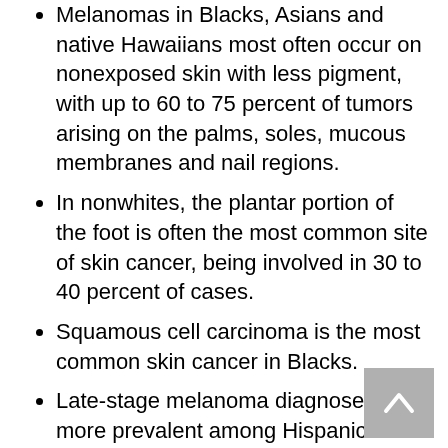Melanomas in Blacks, Asians and native Hawaiians most often occur on nonexposed skin with less pigment, with up to 60 to 75 percent of tumors arising on the palms, soles, mucous membranes and nail regions.
In nonwhites, the plantar portion of the foot is often the most common site of skin cancer, being involved in 30 to 40 percent of cases.
Squamous cell carcinoma is the most common skin cancer in Blacks.
Late-stage melanoma diagnoses are more prevalent among Hispanic and Black patients than non-Hispanic white patients; 52 percent of non-Hispanic Black patients and 26 percent of Hispanic